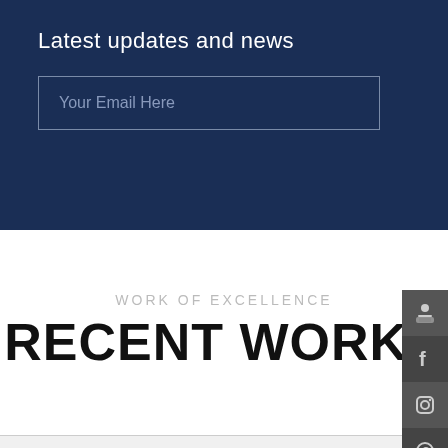Latest updates and news
Your Email Here
WORK OF EXCELLENCE
RECENT WORKS
[Figure (screenshot): Screenshot of a Tax Invoice (Preview) web application showing a dashboard sidebar with menu items (Dashboard, User, Edit, Students, Events, Payment, Settings) and a tax invoice preview with company details, customer details, and invoice table.]